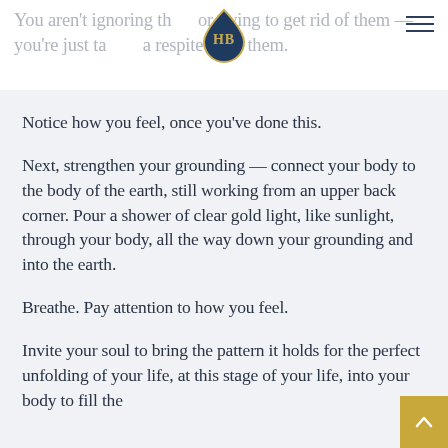You aren't ignoring them, or trying to get rid of them — you're just taking a respite from them.
[Figure (logo): HB logo: dark blue teardrop shape with gold 'HB' letters inside]
Notice how you feel, once you've done this.
Next, strengthen your grounding — connect your body to the body of the earth, still working from an upper back corner. Pour a shower of clear gold light, like sunlight, through your body, all the way down your grounding and into the earth.
Breathe. Pay attention to how you feel.
Invite your soul to bring the pattern it holds for the perfect unfolding of your life, at this stage of your life, into your body to fill the